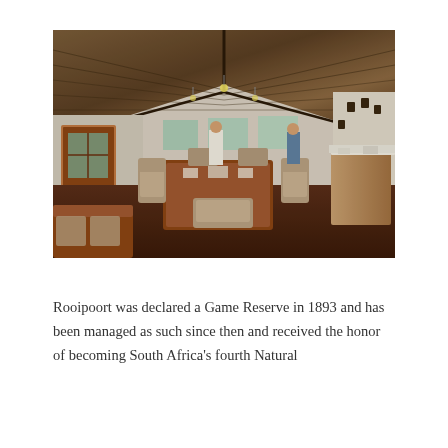[Figure (photo): Interior of a thatched-roof lodge dining room at Rooipoort Game Reserve. Wide-angle view showing wicker chairs, a wooden dining table, large windows, a sideboard with white tablecloth, and two people in the background. The ceiling features exposed wooden beams under a thatched roof.]
Rooipoort was declared a Game Reserve in 1893 and has been managed as such since then and received the honor of becoming South Africa's fourth Natural